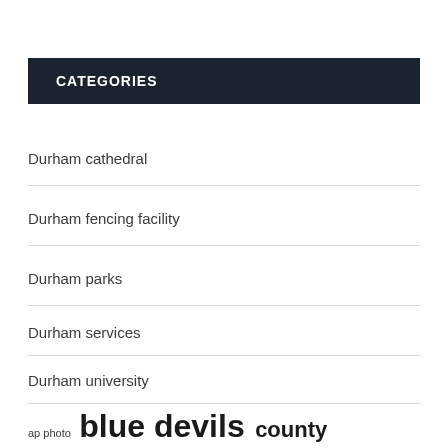CATEGORIES
Durham cathedral
Durham fencing facility
Durham parks
Durham services
Durham university
ap photo  blue devils  county durham  delivered straight  durham cathedral  durham duke  durham university  head coach  history  links  indoor stadium  latest news